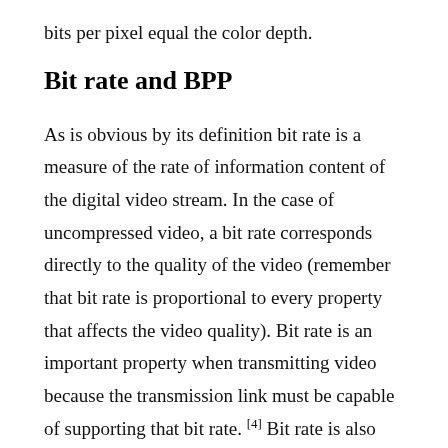bits per pixel equal the color depth.
Bit rate and BPP
As is obvious by its definition bit rate is a measure of the rate of information content of the digital video stream. In the case of uncompressed video, a bit rate corresponds directly to the quality of the video (remember that bit rate is proportional to every property that affects the video quality). Bit rate is an important property when transmitting video because the transmission link must be capable of supporting that bit rate. [4] Bit rate is also